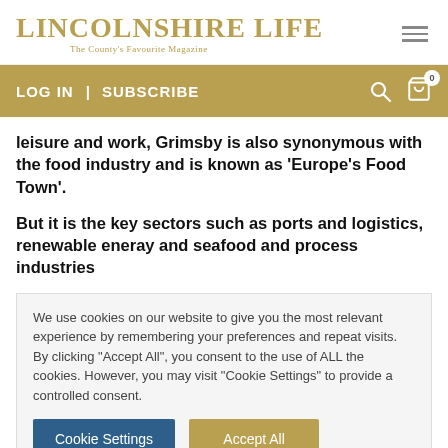LINCOLNSHIRE LIFE
The County's Favourite Magazine
LOG IN | SUBSCRIBE
leisure and work, Grimsby is also synonymous with the food industry and is known as ‘Europe’s Food Town’.
But it is the key sectors such as ports and logistics, renewable eneray and seafood and process industries
We use cookies on our website to give you the most relevant experience by remembering your preferences and repeat visits. By clicking "Accept All", you consent to the use of ALL the cookies. However, you may visit "Cookie Settings" to provide a controlled consent.